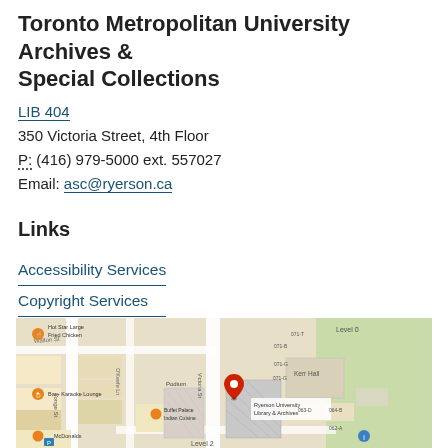Toronto Metropolitan University Archives & Special Collections
LIB 404
350 Victoria Street, 4th Floor
P: (416) 979-5000 ext. 557027
Email: asc@ryerson.ca
Links
Accessibility Services
Copyright Services
Contact Us
Site Index
[Figure (map): Google Maps screenshot showing the location of Ryerson University Library & Archives at 350 Victoria Street, Toronto. Surrounding streets include Yonge St, Walton St, Victoria St, and O'Keefe Ln. Nearby landmarks include Hot Star Large Fried Chicken, Bar+ Karaoke Lounge, McDonalds, Buffet Palace Indian Cuisine, Podium building, and Kerr Hall. A red location pin marks the library building.]